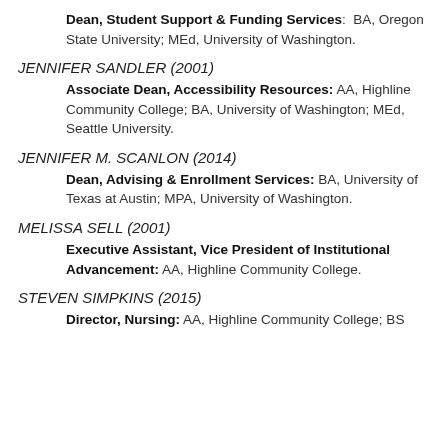Dean, Student Support & Funding Services: BA, Oregon State University; MEd, University of Washington.
JENNIFER SANDLER (2001)
Associate Dean, Accessibility Resources: AA, Highline Community College; BA, University of Washington; MEd, Seattle University.
JENNIFER M. SCANLON (2014)
Dean, Advising & Enrollment Services: BA, University of Texas at Austin; MPA, University of Washington.
MELISSA SELL (2001)
Executive Assistant, Vice President of Institutional Advancement: AA, Highline Community College.
STEVEN SIMPKINS (2015)
Director, Nursing: AA, Highline Community College; BS